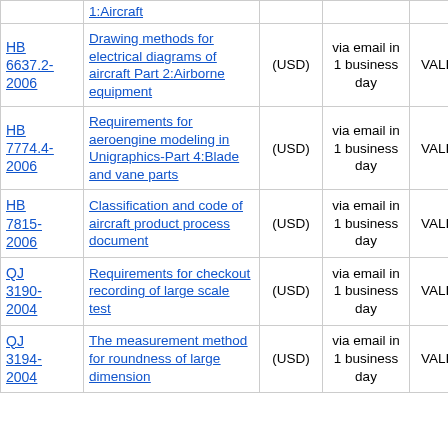| ID | Title | Price | Delivery | Status | Action |
| --- | --- | --- | --- | --- | --- |
| (partial top row - 1:Aircraft) |  |  |  |  |  |
| HB 6637.2-2006 | Drawing methods for electrical diagrams of aircraft Part 2:Airborne equipment | (USD) | via email in 1 business day | VALID | Add To |
| HB 7774.4-2006 | Requirements for aeroengine modeling in Unigraphics-Part 4:Blade and vane parts | (USD) | via email in 1 business day | VALID | Add To |
| HB 7815-2006 | Classification and code of aircraft product process document | (USD) | via email in 1 business day | VALID | Add To |
| QJ 3190-2004 | Requirements for checkout recording of large scale test | (USD) | via email in 1 business day | VALID | Add To |
| QJ 3194-2004 | The measurement method for roundness of large dimension | (USD) | via email in 1 business day | VALID | Add To |